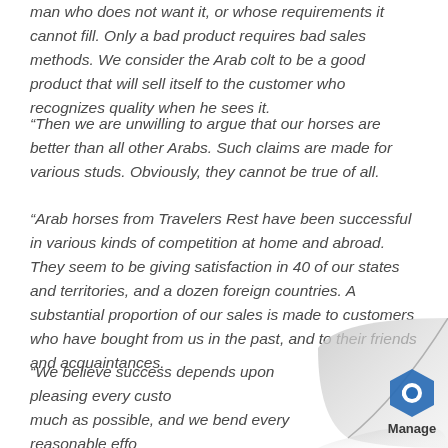man who does not want it, or whose requirements it cannot fill. Only a bad product requires bad sales methods. We consider the Arab colt to be a good product that will sell itself to the customer who recognizes quality when he sees it.
“Then we are unwilling to argue that our horses are better than all other Arabs. Such claims are made for various studs. Obviously, they cannot be true of all.
“Arab horses from Travelers Rest have been successful in various kinds of competition at home and abroad. They seem to be giving satisfaction in 40 of our states and territories, and a dozen foreign countries. A substantial proportion of our sales is made to customers who have bought from us in the past, and to their friends and acquaintances.
“We believe success depends upon pleasing every custo… much as possible, and we bend every reasonable effo… the product of our stud where most apt to give sati…